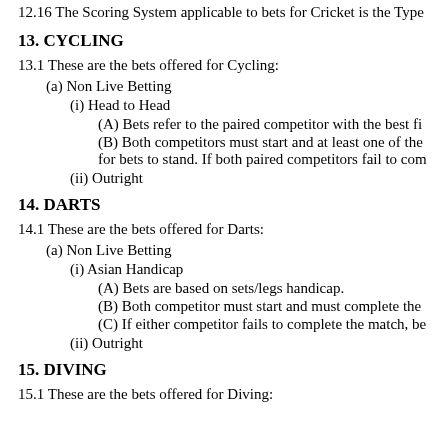12.16 The Scoring System applicable to bets for Cricket is the Type
13. CYCLING
13.1 These are the bets offered for Cycling:
(a) Non Live Betting
(i) Head to Head
(A) Bets refer to the paired competitor with the best fi
(B) Both competitors must start and at least one of the for bets to stand. If both paired competitors fail to com
(ii) Outright
14. DARTS
14.1 These are the bets offered for Darts:
(a) Non Live Betting
(i) Asian Handicap
(A) Bets are based on sets/legs handicap.
(B) Both competitor must start and must complete the
(C) If either competitor fails to complete the match, be
(ii) Outright
15. DIVING
15.1 These are the bets offered for Diving: